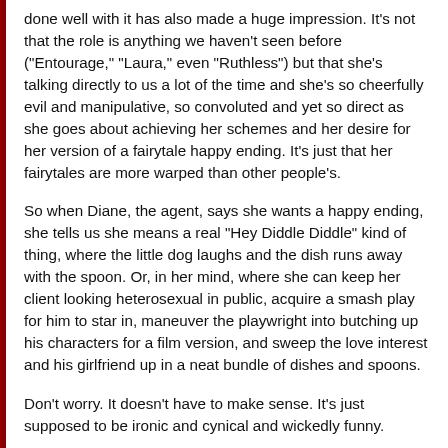done well with it has also made a huge impression. It's not that the role is anything we haven't seen before ("Entourage," "Laura," even "Ruthless") but that she's talking directly to us a lot of the time and she's so cheerfully evil and manipulative, so convoluted and yet so direct as she goes about achieving her schemes and her desire for her version of a fairytale happy ending. It's just that her fairytales are more warped than other people's.
So when Diane, the agent, says she wants a happy ending, she tells us she means a real "Hey Diddle Diddle" kind of thing, where the little dog laughs and the dish runs away with the spoon. Or, in her mind, where she can keep her client looking heterosexual in public, acquire a smash play for him to star in, maneuver the playwright into butching up his characters for a film version, and sweep the love interest and his girlfriend up in a neat bundle of dishes and spoons.
Don't worry. It doesn't have to make sense. It's just supposed to be ironic and cynical and wickedly funny.
Although Chris Taber chews up and spits out Diane nicely,